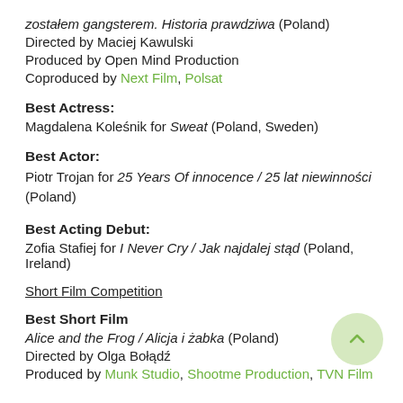zostałem gangsterem. Historia prawdziwa (Poland)
Directed by Maciej Kawulski
Produced by Open Mind Production
Coproduced by Next Film, Polsat
Best Actress:
Magdalena Koleśnik for Sweat (Poland, Sweden)
Best Actor:
Piotr Trojan for 25 Years Of innocence / 25 lat niewinności (Poland)
Best Acting Debut:
Zofia Stafiej for I Never Cry / Jak najdalej stąd (Poland, Ireland)
Short Film Competition
Best Short Film
Alice and the Frog / Alicja i żabka (Poland)
Directed by Olga Bołądź
Produced by Munk Studio, Shootme Production, TVN Film